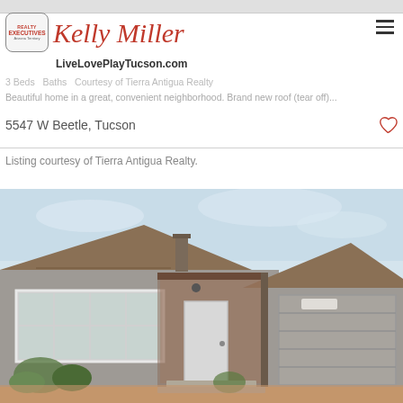Kelly Miller — LiveLovePlayTucson.com — Realty Executives Arizona Territory
$4,000 3 Bedrooms Baths. Courtesy of Tierra Antigua Realty
Beautiful home in a great, convenient neighborhood. Brand new roof (tear off)...
5547 W Beetle, Tucson
Listing courtesy of Tierra Antigua Realty.
[Figure (photo): Exterior front view of a single-story gray stucco home with a tile roof, two-car garage, front entry with covered porch, large multi-pane windows, and desert landscaping.]